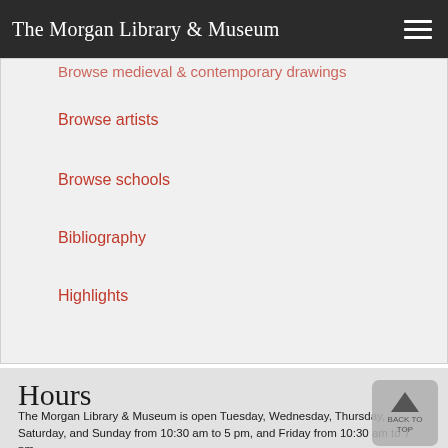The Morgan Library & Museum
Browse medieval & contemporary drawings
Browse artists
Browse schools
Bibliography
Highlights
Hours
The Morgan Library & Museum is open Tuesday, Wednesday, Thursday, Saturday, and Sunday from 10:30 am to 5 pm, and Friday from 10:30 am to 7 pm.
Visitor information
Current exhibitions